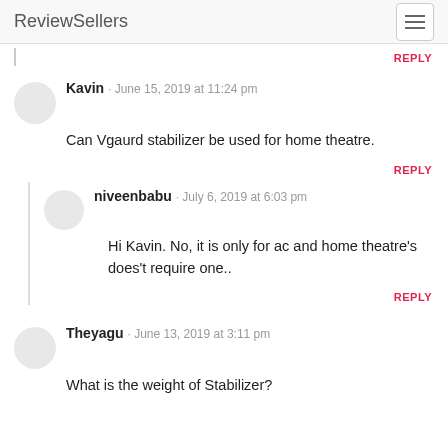ReviewSellers
REPLY
Kavin · June 15, 2019 at 11:24 pm
Can Vgaurd stabilizer be used for home theatre.
REPLY
niveenbabu · July 6, 2019 at 6:03 pm
Hi Kavin. No, it is only for ac and home theatre's does't require one..
REPLY
Theyagu · June 13, 2019 at 3:11 pm
What is the weight of Stabilizer?